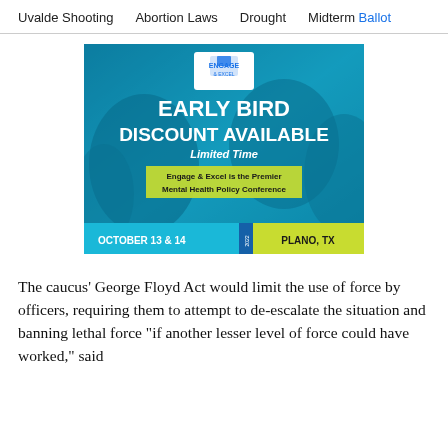Uvalde Shooting    Abortion Laws    Drought    Midterm Ballot
[Figure (infographic): Advertisement for Engage & Excel conference. Blue tinted background with people at a conference. Logo at top center. Text: EARLY BIRD DISCOUNT AVAILABLE, Limited Time, Engage & Excel is the Premier Mental Health Policy Conference. Footer: OCTOBER 13 & 14 | 2022 | PLANO, TX]
The caucus' George Floyd Act would limit the use of force by officers, requiring them to attempt to de-escalate the situation and banning lethal force "if another lesser level of force could have worked," said